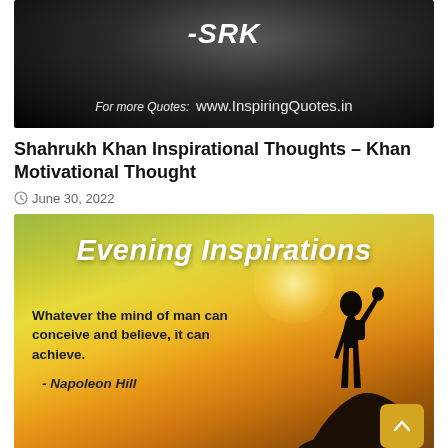[Figure (photo): Black and white photo of a man with beard, with text '-SRK' and watermark 'For more Quotes: www.InspiringQuotes.in']
Shahrukh Khan Inspirational Thoughts – Khan Motivational Thought
June 30, 2022
[Figure (illustration): Evening Inspirations motivational image with yellow/green sunset background, silhouette of a person on a hilltop with fist raised, text: 'Evening Inspirations', 'Whatever the mind of man can conceive and believe, it can achieve.' - Napoleon Hill]